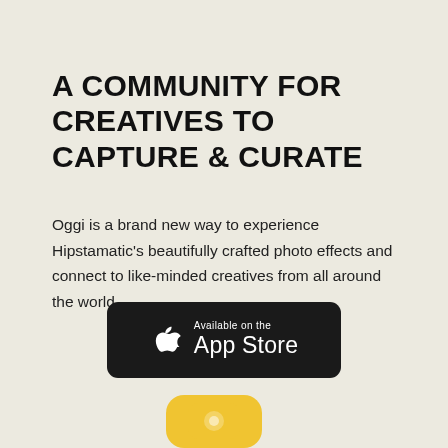A COMMUNITY FOR CREATIVES TO CAPTURE & CURATE
Oggi is a brand new way to experience Hipstamatic's beautifully crafted photo effects and connect to like-minded creatives from all around the world.
[Figure (logo): Available on the App Store badge — black rounded rectangle with Apple logo and text 'Available on the App Store']
[Figure (logo): Partial view of a yellow app icon with a camera/photo shape visible at the bottom of the page]